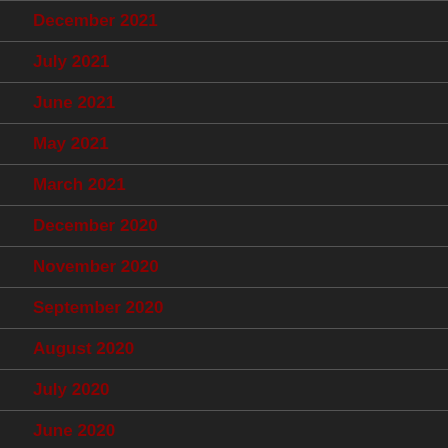December 2021
July 2021
June 2021
May 2021
March 2021
December 2020
November 2020
September 2020
August 2020
July 2020
June 2020